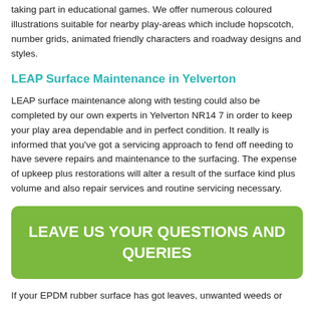taking part in educational games. We offer numerous coloured illustrations suitable for nearby play-areas which include hopscotch, number grids, animated friendly characters and roadway designs and styles.
LEAP Surface Maintenance in Yelverton
LEAP surface maintenance along with testing could also be completed by our own experts in Yelverton NR14 7 in order to keep your play area dependable and in perfect condition. It really is informed that you've got a servicing approach to fend off needing to have severe repairs and maintenance to the surfacing. The expense of upkeep plus restorations will alter a result of the surface kind plus volume and also repair services and routine servicing necessary.
LEAVE US YOUR QUESTIONS AND QUERIES
If your EPDM rubber surface has got leaves, unwanted weeds or